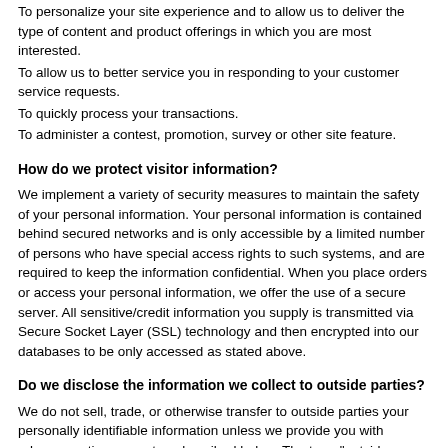To personalize your site experience and to allow us to deliver the type of content and product offerings in which you are most interested.
To allow us to better service you in responding to your customer service requests.
To quickly process your transactions.
To administer a contest, promotion, survey or other site feature.
How do we protect visitor information?
We implement a variety of security measures to maintain the safety of your personal information. Your personal information is contained behind secured networks and is only accessible by a limited number of persons who have special access rights to such systems, and are required to keep the information confidential. When you place orders or access your personal information, we offer the use of a secure server. All sensitive/credit information you supply is transmitted via Secure Socket Layer (SSL) technology and then encrypted into our databases to be only accessed as stated above.
Do we disclose the information we collect to outside parties?
We do not sell, trade, or otherwise transfer to outside parties your personally identifiable information unless we provide you with advance notice, except as described below. The term "outside parties" does not include StrandTea.com. It also does not include website hosting partners and other parties who assist us in operating our website, conducting our business, or servicing you, so long as those parties agree to keep this information confidential. We may also release your information when we believe release is appropriate to comply